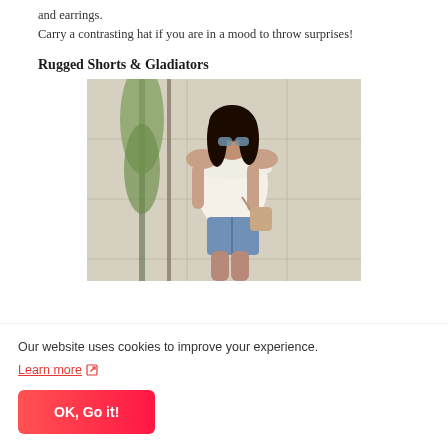and earrings. Carry a contrasting hat if you are in a mood to throw surprises!
Rugged Shorts & Gladiators
[Figure (photo): A woman wearing a white off-shoulder ruffled top, denim cutoff shorts, sunglasses, and carrying a nude bag, posing outdoors against a light-colored wall with a tree behind her.]
Our website uses cookies to improve your experience.
Learn more ↗
OK, Go it!